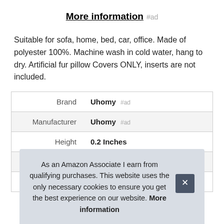More information #ad
Suitable for sofa, home, bed, car, office. Made of polyester 100%. Machine wash in cold water, hang to dry. Artificial fur pillow Covers ONLY, inserts are not included.
| Attribute | Value |
| --- | --- |
| Brand | Uhomy #ad |
| Manufacturer | Uhomy #ad |
| Height | 0.2 Inches |
| Length | 18 Inches |
| P |  |
As an Amazon Associate I earn from qualifying purchases. This website uses the only necessary cookies to ensure you get the best experience on our website. More information